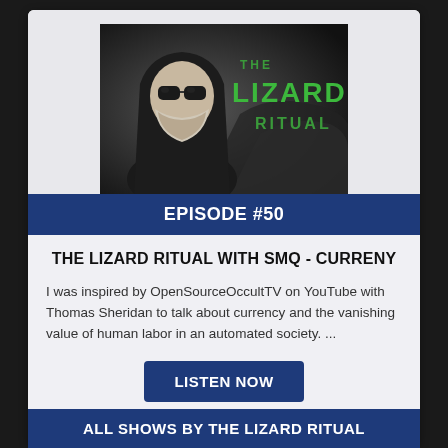[Figure (photo): Black and white image of a bearded man wearing sunglasses and a dark hood, with green text reading 'THE LIZARD RITUAL' overlaid on the right side]
EPISODE #50
THE LIZARD RITUAL WITH SMQ - CURRENY
I was inspired by OpenSourceOccultTV on YouTube with Thomas Sheridan to talk about currency and the vanishing value of human labor in an automated society. ...
LISTEN NOW
AIRED: 10-06-2019
ALL SHOWS BY THE LIZARD RITUAL